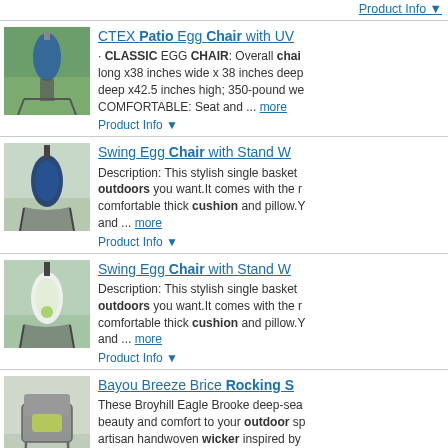Product Info ▼
[Figure (photo): Hanging blue egg chair outdoors on a stand with tree in background]
CTEX Patio Egg Chair with UV... · CLASSIC EGG CHAIR: Overall chair... long x38 inches wide x 38 inches deep... deep x42.5 inches high; 350-pound we... COMFORTABLE: Seat and ... more
Product Info ▼
[Figure (photo): Swing egg chair with stand, blue cushion, photographed outdoors]
Swing Egg Chair with Stand W... Description: This stylish single basket... outdoors you want.It comes with the r... comfortable thick cushion and pillow.Y... and ... more
Product Info ▼
[Figure (photo): Swing egg chair with stand, white/green, photographed outdoors]
Swing Egg Chair with Stand W... Description: This stylish single basket... outdoors you want.It comes with the r... comfortable thick cushion and pillow.Y... and ... more
Product Info ▼
[Figure (photo): Bayou Breeze Brice rocking chair, grey wicker with yellow-green pillow]
Bayou Breeze Brice Rocking S... These Broyhill Eagle Brooke deep-sea... beauty and comfort to your outdoor sp... artisan handwoven wicker inspired by... inviting ... more
Product Info ▼